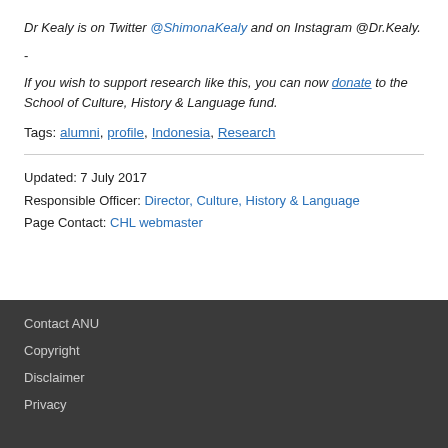Dr Kealy is on Twitter @ShimonaKealy and on Instagram @Dr.Kealy.
-
If you wish to support research like this, you can now donate to the School of Culture, History & Language fund.
Tags: alumni, profile, Indonesia, Research
Updated: 7 July 2017
Responsible Officer: Director, Culture, History & Language
Page Contact: CHL webmaster
Contact ANU
Copyright
Disclaimer
Privacy